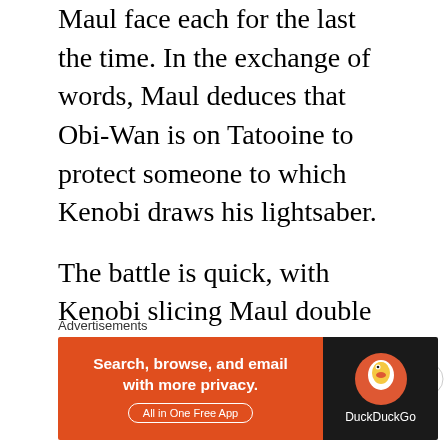Maul face each for the last the time. In the exchange of words, Maul deduces that Obi-Wan is on Tatooine to protect someone to which Kenobi draws his lightsaber.
The battle is quick, with Kenobi slicing Maul double blade in half and inflicting a fatal wound to his chest. As Obi-Wan holds his fallen adversary, Maul asks if he is protecting the Chosen One to which he answers “yes.” In response, the Darth Maul says that he will avenge
Advertisements
[Figure (other): DuckDuckGo advertisement banner. Left orange section reads 'Search, browse, and email with more privacy. All in One Free App' with a pill-shaped border button. Right dark section shows DuckDuckGo duck logo and 'DuckDuckGo' text.]